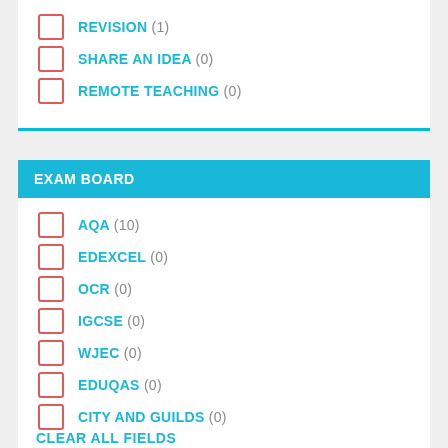REVISION (1)
SHARE AN IDEA (0)
REMOTE TEACHING (0)
EXAM BOARD
AQA (10)
EDEXCEL (0)
OCR (0)
IGCSE (0)
WJEC (0)
EDUQAS (0)
CITY AND GUILDS (0)
CLEAR ALL FIELDS